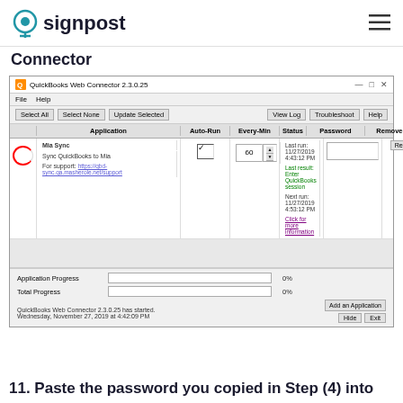signpost
Connector
[Figure (screenshot): QuickBooks Web Connector 2.3.0.25 application window showing Mia Sync application with Auto-Run checked, Every-Min set to 60, status showing last run 11/27/2019 4:43:12 PM, last result 'Enter QuickBooks session', next run 11/27/2019 4:53:12 PM, and 'Click for more information' link. Application Progress 0%, Total Progress 0%. Status bar shows QuickBooks Web Connector 2.3.0.25 has started, Wednesday, November 27, 2019 at 4:42:09 PM. A red circle highlights the checkbox for the Mia Sync row.]
11. Paste the password you copied in Step (4) into the Password Box and then click OK...